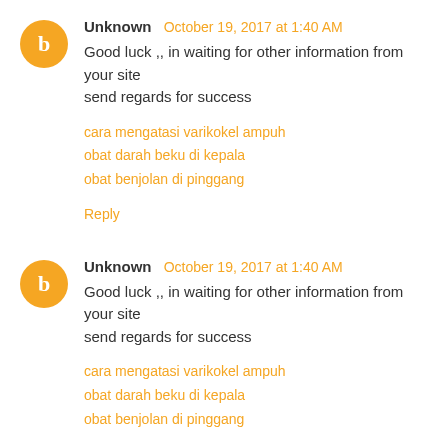Unknown  October 19, 2017 at 1:40 AM
Good luck ,, in waiting for other information from your site send regards for success
cara mengatasi varikokel ampuh
obat darah beku di kepala
obat benjolan di pinggang
Reply
Unknown  October 19, 2017 at 1:40 AM
Good luck ,, in waiting for other information from your site send regards for success
cara mengatasi varikokel ampuh
obat darah beku di kepala
obat benjolan di pinggang
Reply